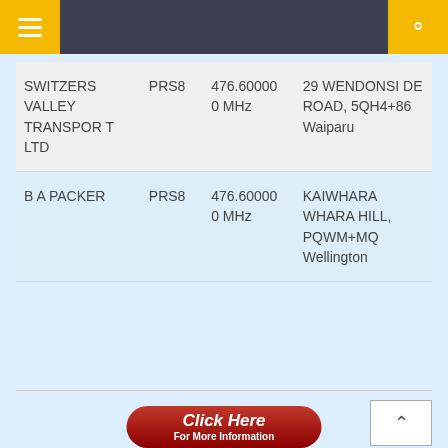Navigation bar with menu and search icons
| Name | Type | Frequency | Address |
| --- | --- | --- | --- |
| SWITZERS VALLEY TRANSPORT LTD | PRS8 | 476.600000 MHz | 29 WENDONSIDE ROAD, 5QH4+86 Waiparu |
| B A PACKER | PRS8 | 476.600000 MHz | KAIWHARA WHARA HILL, PQWM+MQ Wellington |
[Figure (screenshot): Click Here For More Information button in red/dark red gradient with rounded corners]
[Figure (other): Back to top arrow button, square outline with upward caret]